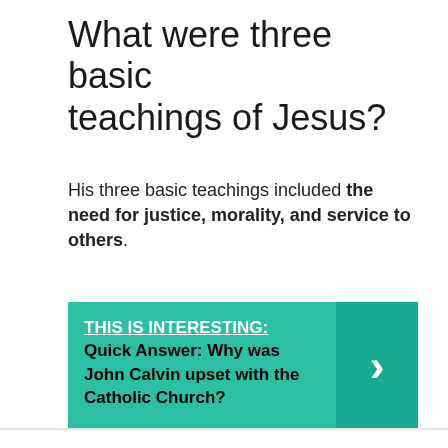What were three basic teachings of Jesus?
His three basic teachings included the need for justice, morality, and service to others.
[Figure (infographic): A teal/green banner with the label 'THIS IS INTERESTING:' underlined in white, followed by bold black text 'Quick Answer: Why was John Calvin upset with the Catholic Church?' and a darker teal right-arrow chevron on the right side.]
Theology
Search